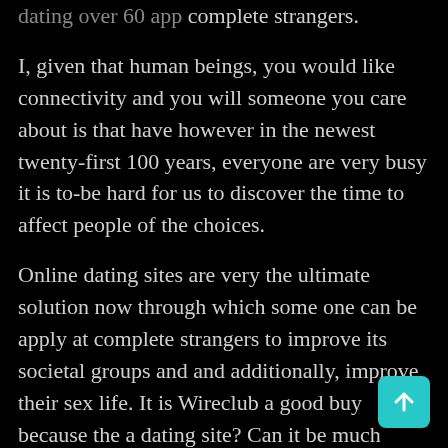dating over 60 app complete strangers.
I, given that human beings, you would like connectivity and you will someone you care about is that have however in the newest twenty-first 100 years, everyone are very busy it is to-be hard for us to discover the time to affect people of the choices.
Online dating sites are very the ultimate solution now through which some one can be apply at complete strangers to improve its societal groups and and additionally, improve their sex life. It is Wireclub a good buy because the a dating site? Can it be much better than most other online dating sites and you may worthy of paying your time in? Let's find